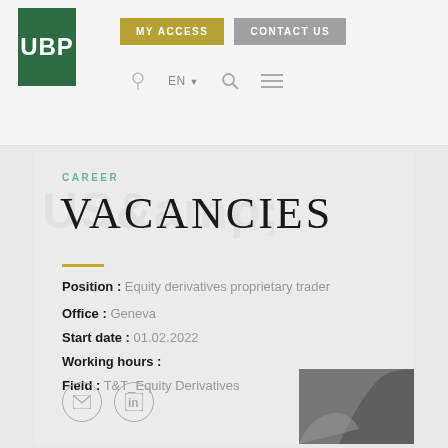[Figure (logo): UBP bank logo - white letters on dark green background]
MY ACCESS   CONTACT US
CAREER
VACANCIES
Position : Equity derivatives proprietary trader
Office : Geneva
Start date : 01.02.2022
Working hours :
Field : T&T_Equity Derivatives